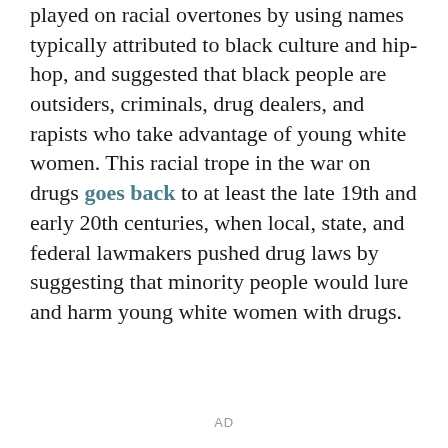played on racial overtones by using names typically attributed to black culture and hip-hop, and suggested that black people are outsiders, criminals, drug dealers, and rapists who take advantage of young white women. This racial trope in the war on drugs goes back to at least the late 19th and early 20th centuries, when local, state, and federal lawmakers pushed drug laws by suggesting that minority people would lure and harm young white women with drugs.
AD